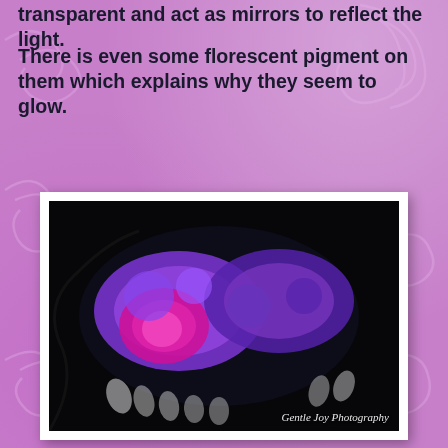transparent and act as mirrors to reflect the light.
There is even some florescent pigment on them which explains why they seem to glow.
[Figure (photo): Close-up photo of a butterfly wing glowing under UV/black light, showing vivid purple and pink fluorescent patterns against a dark background. Watermark reads 'Gentle Joy Photography'.]
[Figure (photo): Close-up macro photo of what appears to be a butterfly or insect body part, blurred with purple/blue hues and beige tones. Watermark reads 'Gentle Joy Photography'.]